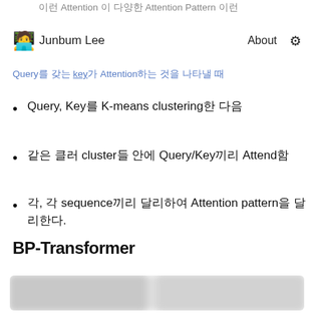이런 Attention 이 다양한 Attention Pattern 이런
Junbum Lee   About
Query를 갖는 key가 Attention하는 것을 나타낼 때
Query, Key를 K-means clustering한 다음
같은 클러 cluster들 안에 Query/Key끼리 Attend함
각, 각 sequence끼리 달리하여 Attention pattern을 달리한다.
BP-Transformer
[Figure (other): Blurred/redacted image area below BP-Transformer section]